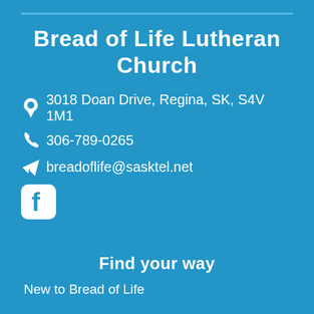Bread of Life Lutheran Church
3018 Doan Drive, Regina, SK, S4V 1M1
306-789-0265
breadoflife@sasktel.net
[Figure (logo): Facebook icon (white rounded square with 'f')]
Find your way
New to Bread of Life